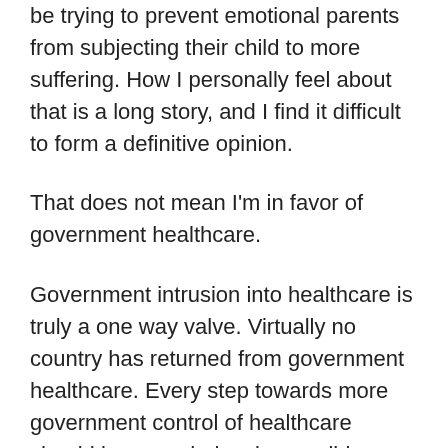be trying to prevent emotional parents from subjecting their child to more suffering. How I personally feel about that is a long story, and I find it difficult to form a definitive opinion.
That does not mean I'm in favor of government healthcare.
Government intrusion into healthcare is truly a one way valve. Virtually no country has returned from government healthcare. Every step towards more government control of healthcare should be regarded as irreversible. Case in point, republicans might, (and I do say “might”) roll back one of the ten steps democrats made towards government healthcare in the past eight years. Ten steps down, one up. The trajectory is clear.